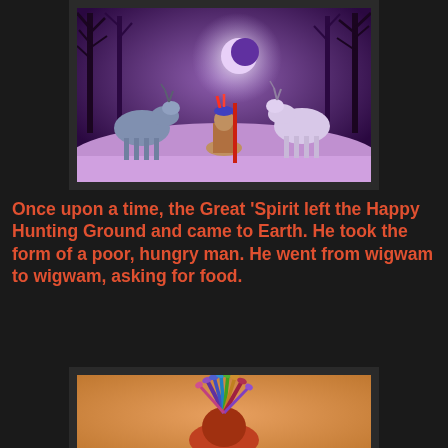[Figure (illustration): Digital illustration showing a Native American woman kneeling between two deer (one blue-grey on left, one white on right) in a purple-hued mystical forest scene with bare trees, a crescent moon, and snowy ground.]
Once upon a time, the Great 'Spirit left the Happy Hunting Ground and came to Earth. He took the form of a poor, hungry man. He went from wigwam to wigwam, asking for food.
[Figure (illustration): Digital illustration showing a colorful Native American headdress or ceremonial figure with vibrant feathers and decorative elements against a warm orange-tan background.]